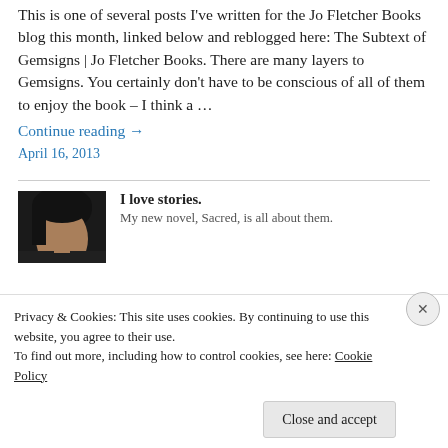This is one of several posts I've written for the Jo Fletcher Books blog this month, linked below and reblogged here: The Subtext of Gemsigns | Jo Fletcher Books. There are many layers to Gemsigns. You certainly don't have to be conscious of all of them to enjoy the book – I think a …
Continue reading →
April 16, 2013
[Figure (photo): Author photo showing a person with dark hair, partially visible, cropped square]
I love stories.
My new novel, Sacred, is all about them.
Privacy & Cookies: This site uses cookies. By continuing to use this website, you agree to their use. To find out more, including how to control cookies, see here: Cookie Policy
Close and accept